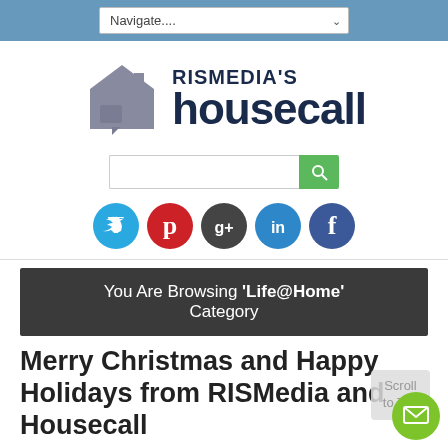Navigate....
[Figure (logo): RISMedia's Housecall logo with house icon and text]
[Figure (screenshot): Search bar with green search button and social media icons: Twitter, Pinterest, Google+, LinkedIn, Facebook]
You Are Browsing 'Life@Home' Category
Merry Christmas and Happy Holidays from RISMedia and Housecall
Life@Home